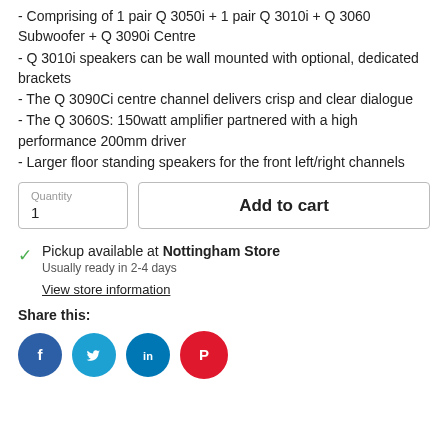- Comprising of 1 pair Q 3050i + 1 pair Q 3010i + Q 3060 Subwoofer + Q 3090i Centre
- Q 3010i speakers can be wall mounted with optional, dedicated brackets
- The Q 3090Ci centre channel delivers crisp and clear dialogue
- The Q 3060S: 150watt amplifier partnered with a high performance 200mm driver
- Larger floor standing speakers for the front left/right channels
Quantity 1 | Add to cart
Pickup available at Nottingham Store
Usually ready in 2-4 days
View store information
Share this:
[Figure (infographic): Social media share icons: Facebook (blue circle with f), Twitter (blue circle with bird), LinkedIn (teal circle with in), Pinterest (red circle with P)]